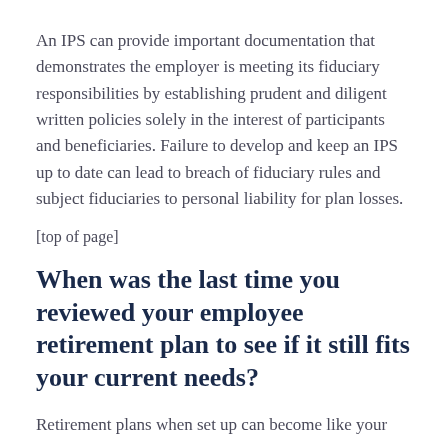An IPS can provide important documentation that demonstrates the employer is meeting its fiduciary responsibilities by establishing prudent and diligent written policies solely in the interest of participants and beneficiaries. Failure to develop and keep an IPS up to date can lead to breach of fiduciary rules and subject fiduciaries to personal liability for plan losses.
[top of page]
When was the last time you reviewed your employee retirement plan to see if it still fits your current needs?
Retirement plans when set up can become like your